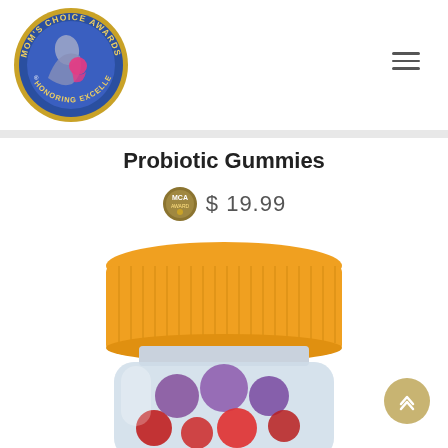[Figure (logo): Mom's Choice Awards circular logo — blue circle with gold border, text 'MOM'S CHOICE AWARDS HONORING EXCELLENCE', stylized mother and child figure in pink and gray]
[Figure (illustration): Hamburger menu icon — three horizontal lines]
Probiotic Gummies
[Figure (logo): Small gold/brown circular award badge icon]
$ 19.99
[Figure (photo): Product photo — clear plastic jar with orange ribbed cap containing purple, red, and mixed gummy candies. Top portion of jar visible showing cap and upper jar with colorful gummies inside.]